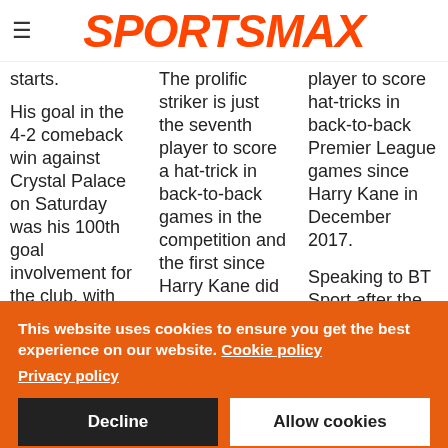SPORTSMAX
starts.
His goal in the 4-2 comeback win against Crystal Palace on Saturday was his 100th goal involvement for the club, with an even split of 50
The prolific striker is just the seventh player to score a hat-trick in back-to-back games in the competition and the first since Harry Kane did so
player to score hat-tricks in back-to-back Premier League games since Harry Kane in December 2017.
Speaking to BT Sport after the
This website uses cookies to ensure you get the best experience on our website. Cookie policy Privacy policy
Decline
Allow cookies